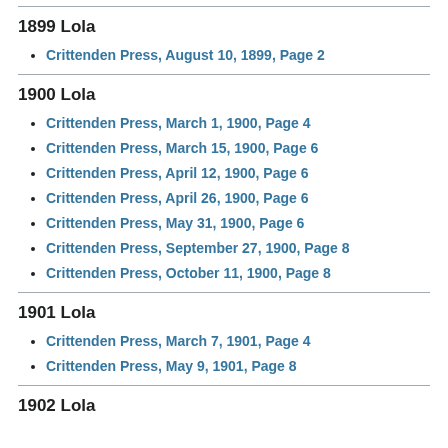1899 Lola
Crittenden Press, August 10, 1899, Page 2
1900 Lola
Crittenden Press, March 1, 1900, Page 4
Crittenden Press, March 15, 1900, Page 6
Crittenden Press, April 12, 1900, Page 6
Crittenden Press, April 26, 1900, Page 6
Crittenden Press, May 31, 1900, Page 6
Crittenden Press, September 27, 1900, Page 8
Crittenden Press, October 11, 1900, Page 8
1901 Lola
Crittenden Press, March 7, 1901, Page 4
Crittenden Press, May 9, 1901, Page 8
1902 Lola